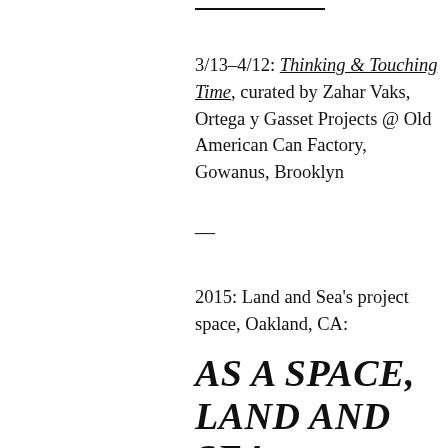3/13–4/12: Thinking & Touching Time, curated by Zahar Vaks, Ortega y Gasset Projects @ Old American Can Factory, Gowanus, Brooklyn
—
2015: Land and Sea's project space, Oakland, CA:
AS A SPACE, LAND AND SEA WILL TAKE A STANCE TO